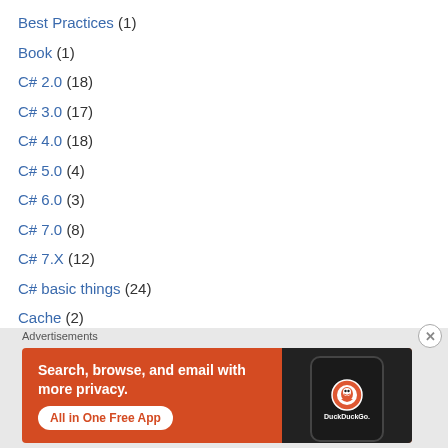Best Practices (1)
Book (1)
C# 2.0 (18)
C# 3.0 (17)
C# 4.0 (18)
C# 5.0 (4)
C# 6.0 (3)
C# 7.0 (8)
C# 7.X (12)
C# basic things (24)
Cache (2)
Cloud (3)
Advertisements
[Figure (illustration): DuckDuckGo advertisement banner with orange background, text 'Search, browse, and email with more privacy. All in One Free App' and a phone image showing the DuckDuckGo logo.]